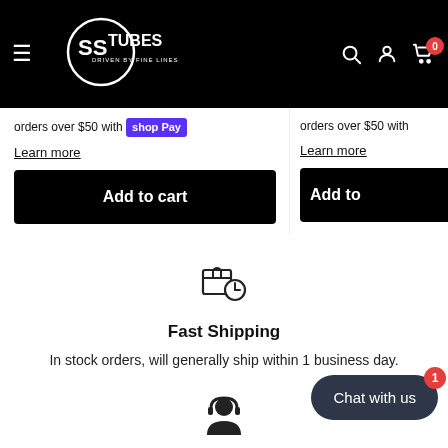[Figure (screenshot): SS Tubes website header with hamburger menu, logo, search, account and cart icons on black background]
orders over $50 with Shop Pay
Learn more
Add to cart
orders over $50 with
Learn more
Add to
[Figure (illustration): Fast shipping icon showing a package with a clock]
Fast Shipping
In stock orders, will generally ship within 1 business day.
[Figure (illustration): Knowledgeable staff icon showing a person with headset]
Knowledgeable Staff
Chat with us